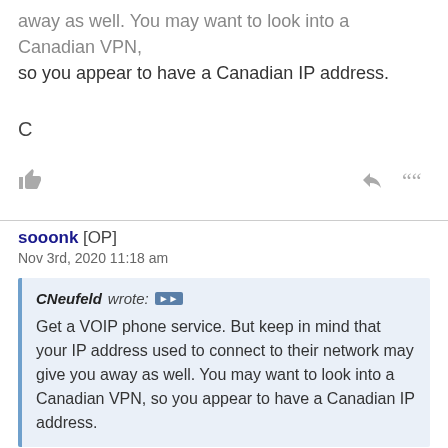away as well. You may want to look into a Canadian VPN, so you appear to have a Canadian IP address.
C
sooonk [OP]
Nov 3rd, 2020 11:18 am
CNeufeld wrote: Get a VOIP phone service. But keep in mind that your IP address used to connect to their network may give you away as well. You may want to look into a Canadian VPN, so you appear to have a Canadian IP address.